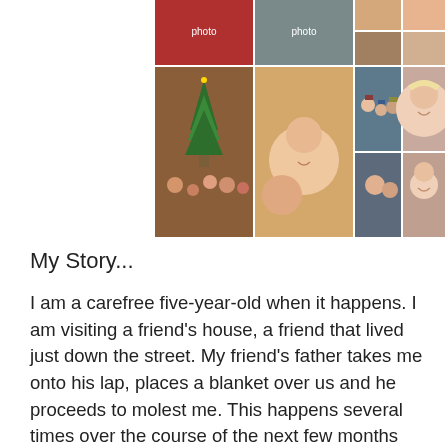[Figure (photo): Collage of family and personal photos arranged in a 2-row grid: top row shows partial images cropped at top of page, bottom row shows a family Christmas photo, a selfie with a child, a group of children outdoors in winter, and a woman smiling.]
My Story...
I am a carefree five-year-old when it happens. I am visiting a friend's house, a friend that lived just down the street. My friend's father takes me onto his lap, places a blanket over us and he proceeds to molest me. This happens several times over the course of the next few months and although I don't realize what he is doing, something shifts in my mind and heart.